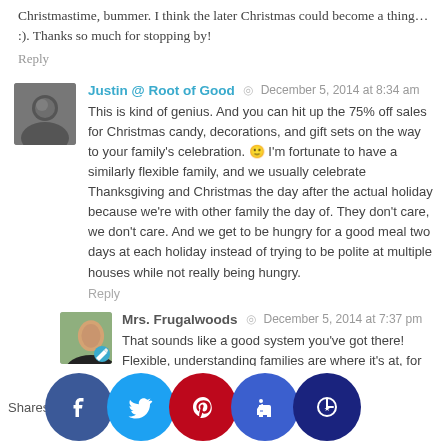Christmastime, bummer. I think the later Christmas could become a thing… :). Thanks so much for stopping by!
Reply
Justin @ Root of Good · December 5, 2014 at 8:34 am
This is kind of genius. And you can hit up the 75% off sales for Christmas candy, decorations, and gift sets on the way to your family's celebration. 🙂 I'm fortunate to have a similarly flexible family, and we usually celebrate Thanksgiving and Christmas the day after the actual holiday because we're with other family the day of. They don't care, we don't care. And we get to be hungry for a good meal two days at each holiday instead of trying to be polite at multiple houses while not really being hungry.
Reply
Mrs. Frugalwoods · December 5, 2014 at 7:37 pm
That sounds like a good system you've got there! Flexible, understanding families are where it's at, for sure. Plus, I love spending any and all holidays as long as we only... I would our Christmas decor until February if Mr. FW would let me. 😉
Shares